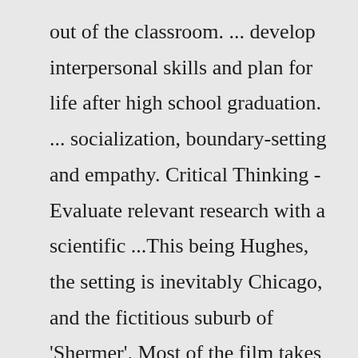out of the classroom. ... develop interpersonal skills and plan for life after high school graduation. ... socialization, boundary-setting and empathy. Critical Thinking - Evaluate relevant research with a scientific ...This being Hughes, the setting is inevitably Chicago, and the fictitious suburb of 'Shermer'. Most of the film takes place in the library of 'Shermer High School', which was a set created in the gymnasium of what